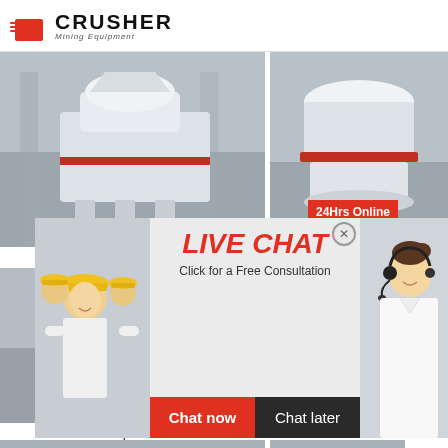[Figure (logo): Crusher Mining Equipment logo with red shopping bag icon and bold CRUSHER text with Mining Equipment subtitle]
[Figure (photo): PCL Sand Making Machine - large white industrial crusher machine in factory setting]
[Figure (photo): Right side crusher machine - white industrial cone crusher in factory]
24Hrs Online
[Figure (photo): Live Chat overlay with workers in hard hats on left and customer service representative with headset on right]
LIVE CHAT
Click for a Free Consultation
Chat now
Chat later
PCL Sand M
[Figure (photo): VSI6X Impact Crusher - large white industrial impact crusher with red band in factory]
VSI6X Impact Crusher
[Figure (photo): VSI Sand Making machine - white industrial machine in factory]
VSI Sand Ma
Need questions & suggestion?
Chat Now
Enquiry
limingjlmofen@sina.com